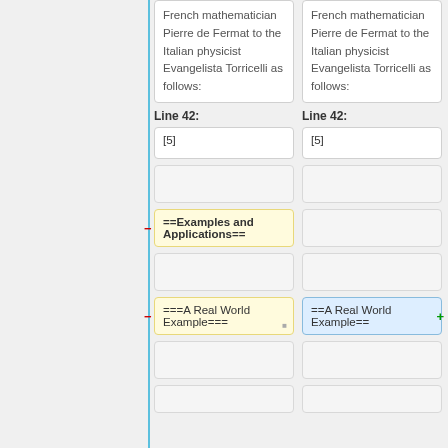French mathematician Pierre de Fermat to the Italian physicist Evangelista Torricelli as follows:
French mathematician Pierre de Fermat to the Italian physicist Evangelista Torricelli as follows:
Line 42:
Line 42:
[5]
[5]
==Examples and Applications==
===A Real World Example===
==A Real World Example==